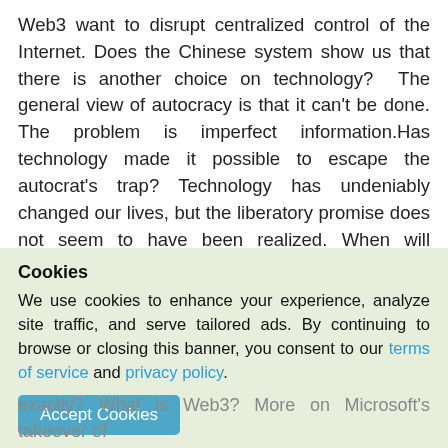Web3 want to disrupt centralized control of the Internet. Does the Chinese system show us that there is another choice on technology?  The general view of autocracy is that it can't be done. The problem is imperfect information.Has technology made it possible to escape the autocrat's trap? Technology has undeniably changed our lives, but the liberatory promise does not seem to have been realized. When will technology give us control over our own time? The kind of capitalism that drives the tech industry is unstable unless it grows.The relentlessness of consumer society is antithetical to a
kind of creativity and a particular kind of
Cookies
We use cookies to enhance your experience, analyze site traffic, and serve tailored ads. By continuing to browse or closing this banner, you consent to our terms of service and privacy policy.
Accept Cookies
exactly? What is Web3? More on Microsoft's takeover of